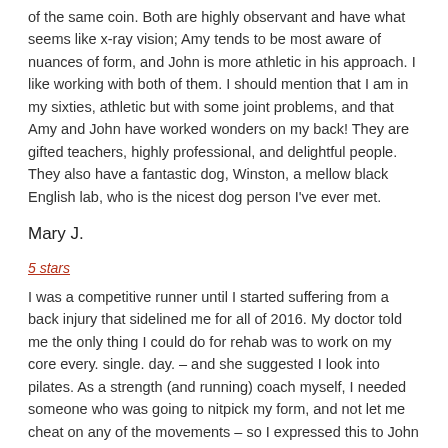of the same coin. Both are highly observant and have what seems like x-ray vision; Amy tends to be most aware of nuances of form, and John is more athletic in his approach. I like working with both of them. I should mention that I am in my sixties, athletic but with some joint problems, and that Amy and John have worked wonders on my back! They are gifted teachers, highly professional, and delightful people. They also have a fantastic dog, Winston, a mellow black English lab, who is the nicest dog person I've ever met.
Mary J.
5 stars
I was a competitive runner until I started suffering from a back injury that sidelined me for all of 2016. My doctor told me the only thing I could do for rehab was to work on my core every. single. day. – and she suggested I look into pilates. As a strength (and running) coach myself, I needed someone who was going to nitpick my form, and not let me cheat on any of the movements – so I expressed this to John when we started